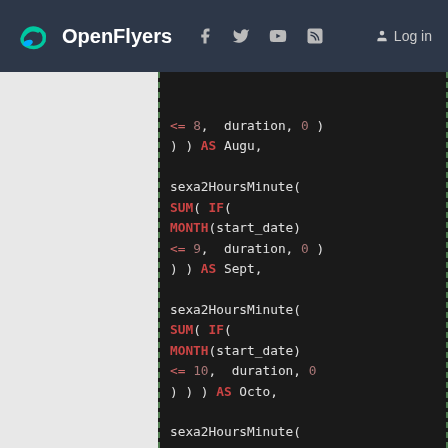OpenFlyers | Log in
[Figure (screenshot): Code editor screenshot showing SQL code with sexa2HoursMinute function calls using SUM(IF(MONTH(start_date) conditions for months August through December]
SQL code snippet showing sexa2HoursMinute(SUM(IF(MONTH(start_date) <= 8, duration, 0))) AS Augu, sexa2HoursMinute(SUM(IF(MONTH(start_date) <= 9, duration, 0))) AS Sept, sexa2HoursMinute(SUM(IF(MONTH(start_date) <= 10, duration, 0))) AS Octo, sexa2HoursMinute(SUM(IF(MONTH(start_date) <= 11, duration, 0))) AS Nove, sexa2HoursMinute(SUM(IF(MONTH(start_date) <= 12, duration, 0))) AS Dece,